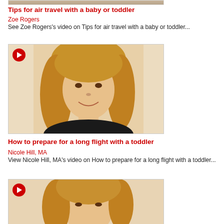[Figure (photo): Video thumbnail of Zoe Rogers with play button, partial view at top of page]
Tips for air travel with a baby or toddler
Zoe Rogers
See Zoe Rogers's video on Tips for air travel with a baby or toddler...
[Figure (photo): Video thumbnail showing Nicole Hill, MA - a woman with blonde hair smiling, with red play button in top-left corner]
How to prepare for a long flight with a toddler
Nicole Hill, MA
View Nicole Hill, MA's video on How to prepare for a long flight with a toddler...
[Figure (photo): Video thumbnail showing another woman with blonde hair, with red play button in top-left corner, partially visible at bottom of page]